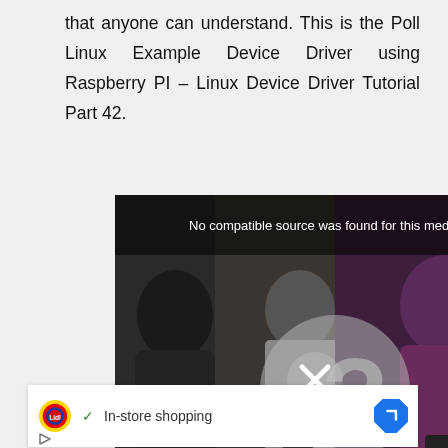that anyone can understand. This is the Poll Linux Example Device Driver using Raspberry PI – Linux Device Driver Tutorial Part 42.
[Figure (screenshot): Video player showing 'No compatible source was found for this media.' with a question mark and X icon overlay on a dark background showing people using phones]
[Figure (screenshot): Advertisement for Lidl showing 'In-store shopping' with checkmark, Lidl logo, and a navigation/directions icon]